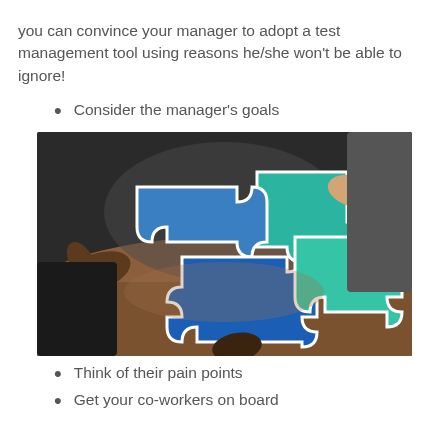you can convince your manager to adopt a test management tool using reasons he/she won't be able to ignore!
Consider the manager's goals
[Figure (photo): People around a table assembling large blue and teal puzzle pieces together]
Think of their pain points
Get your co-workers on board